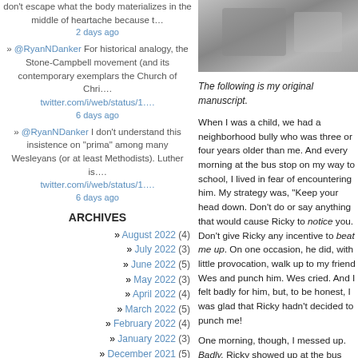don't escape what the body materializes in the middle of heartache because t… 2 days ago
» @RyanNDanker For historical analogy, the Stone-Campbell movement (and its contemporary exemplars the Church of Chri…. twitter.com/i/web/status/1…. 6 days ago
» @RyanNDanker I don't understand this insistence on "prima" among many Wesleyans (or at least Methodists). Luther is…. twitter.com/i/web/status/1…. 6 days ago
ARCHIVES
» August 2022 (4)
» July 2022 (3)
» June 2022 (5)
» May 2022 (3)
» April 2022 (4)
» March 2022 (5)
» February 2022 (4)
» January 2022 (3)
» December 2021 (5)
» November 2021 (2)
» October 2021 (4)
» September 2021 (5)
» August 2021 (4)
» July 2021 (3)
» June 2021 (4)
» May 2021 (4)
» April 2021 (4)
[Figure (photo): Blurred/blurred photo image at top right]
The following is my original manuscript.
When I was a child, we had a neighborhood bully who was three or four years older than me. And every morning at the bus stop on my way to school, I lived in fear of encountering him. My strategy was, "Keep your head down. Don't do or say anything that would cause Ricky to notice you. Don't give Ricky any incentive to beat me up. On one occasion, he did, with little provocation, walk up to my friend Wes and punch him. Wes cried. And I felt badly for him, but, to be honest, I was glad that Ricky hadn't decided to punch me!
One morning, though, I messed up. Badly. Ricky showed up at the bus stop with a "Weeble" in his hand, and he was showing it off. Do you remember Weebles? "Weebles wobble, but they don't fall down"? Those egg-shaped toy figures? Ricky told the group around him that he had found it on the side of the road. Naturally, I pointed out that no fifth or sixth grade would be playing with a Weeble. I was sharing this information in a neutral, non-judgmental manner, just to pass the time on the bus ride to school. But before the end of the bus ride, someone told Ricky that I was making fun of him for playing with a Weeble.
I still remember him walking over to me on the bus: "Did you call me? You're dead! After school." By the end of